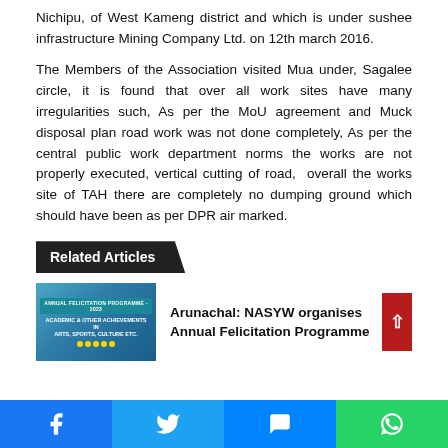Nichipu, of West Kameng district and which is under sushee infrastructure Mining Company Ltd. on 12th march 2016.
The Members of the Association visited Mua under, Sagalee circle, it is found that over all work sites have many irregularities such, As per the MoU agreement and Muck disposal plan road work was not done completely, As per the central public work department norms the works are not properly executed, vertical cutting of road,  overall the works site of TAH there are completely no dumping ground which should have been as per DPR air marked.
Related Articles
[Figure (photo): Annual Felicitation Programme event photo with banner and people]
Arunachal: NASYW organises Annual Felicitation Programme
Facebook | Twitter | Messenger | WhatsApp social share buttons